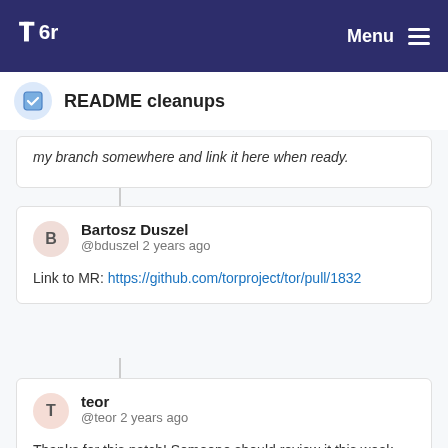Tor | Menu
README cleanups
my branch somewhere and link it here when ready.
Bartosz Duszel
@bduszel 2 years ago
Link to MR: https://github.com/torproject/tor/pull/1832
teor
@teor 2 years ago
Thanks for this patch! Someone should review it this week.

To help the reviewer, can you answer this question:

What dialect of Markdown are you using? The links starting with "..." don't work on GitHub Markdown.